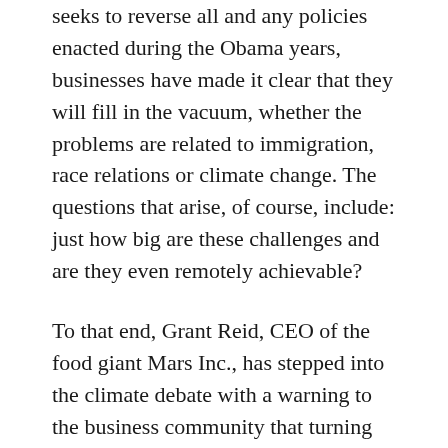seeks to reverse all and any policies enacted during the Obama years, businesses have made it clear that they will fill in the vacuum, whether the problems are related to immigration, race relations or climate change. The questions that arise, of course, include: just how big are these challenges and are they even remotely achievable?
To that end, Grant Reid, CEO of the food giant Mars Inc., has stepped into the climate debate with a warning to the business community that turning away from the Paris global climate agreement and United Nations Sustainable Development Goals (SDGs) has been “nowhere near enough.” Reid made his comments as business and government leaders arrive in New